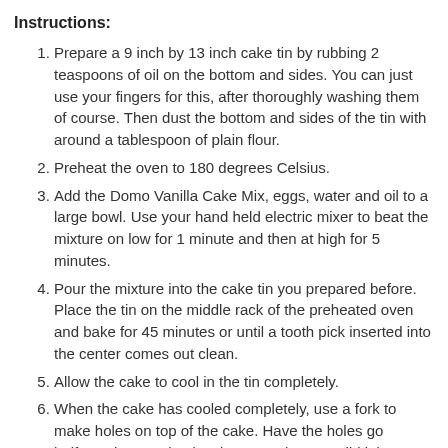Instructions:
Prepare a 9 inch by 13 inch cake tin by rubbing 2 teaspoons of oil on the bottom and sides. You can just use your fingers for this, after thoroughly washing them of course. Then dust the bottom and sides of the tin with around a tablespoon of plain flour.
Preheat the oven to 180 degrees Celsius.
Add the Domo Vanilla Cake Mix, eggs, water and oil to a large bowl. Use your hand held electric mixer to beat the mixture on low for 1 minute and then at high for 5 minutes.
Pour the mixture into the cake tin you prepared before. Place the tin on the middle rack of the preheated oven and bake for 45 minutes or until a tooth pick inserted into the center comes out clean.
Allow the cake to cool in the tin completely.
When the cake has cooled completely, use a fork to make holes on top of the cake. Have the holes go halfway deep and quite close together. We did it in zigzag rows, leaving around ½ cm in between.
Combine the condensed milk, evaporated milk, full cream milk and vanilla essence in a bowl. Then pour this mixture